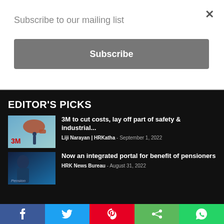Subscribe to our mailing list
Subscribe
EDITOR'S PICKS
3M to cut costs, lay off part of safety & industrial...
Liji Narayan | HRKatha - September 1, 2022
Now an integrated portal for benefit of pensioners
HRK News Bureau - August 31, 2022
f  Twitter  Pinterest  Share  WhatsApp